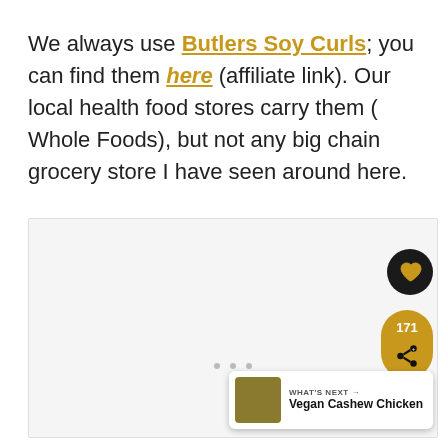We always use Butlers Soy Curls; you can find them here (affiliate link). Our local health food stores carry them ( Whole Foods), but not any big chain grocery store I have seen around here.
[Figure (screenshot): A light gray image placeholder area with a heart/like button (171 likes), a share button widget, three navigation dots, and a 'What's Next' card showing Vegan Cashew Chicken.]